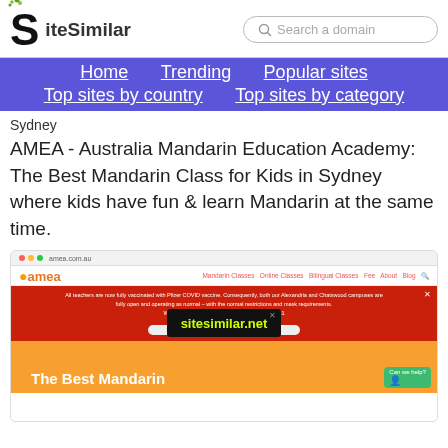SiteSimilar — Search a domain
Home   Trending   Popular sites   Top sites by country   Top sites by category
Sydney
AMEA - Australia Mandarin Education Academy: The Best Mandarin Class for Kids in Sydney where kids have fun & learn Mandarin at the same time.
[Figure (screenshot): Screenshot of the AMEA (Australia Mandarin Education Academy) website showing the amea logo, navigation bar with Mandarin Classes, Online Classes, Bilingual Classes, Fee, About, Blog links, a modal overlay with 'sitesimilar.net' watermark, a red banner about COVID-19 vaccination and Term 4 2021 bookings, and an orange section beginning with 'The Best Mandarin']